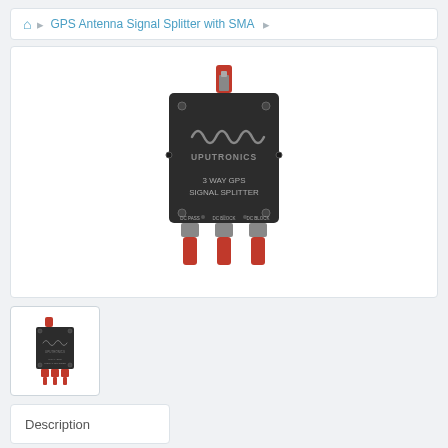GPS Antenna Signal Splitter with SMA
[Figure (photo): Uputronics 3 Way GPS Signal Splitter with SMA connectors. Dark grey metal enclosure with red SMA connectors on top (1 input) and bottom (3 outputs labeled DC PASS, DC BLOCK, DC BLOCK). Logo shows sine wave / infinity loops above UPUTRONICS text.]
[Figure (photo): Small thumbnail image of the same Uputronics 3 Way GPS Signal Splitter showing the device from a similar angle, smaller scale.]
Description